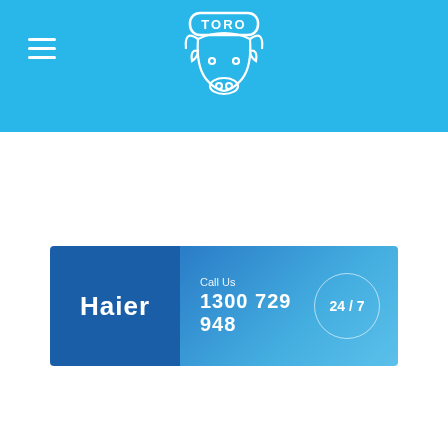[Figure (logo): Toro bull logo with TORO text in white on blue header bar]
[Figure (infographic): Haier banner with dark blue left panel showing Haier logo and light blue right panel showing Call Us 1300 729 948 and 24/7 circle badge]